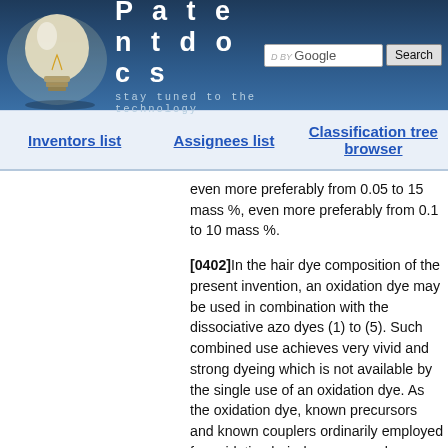[Figure (logo): Patentdocs website header with lightbulb logo, brand name 'Patentdocs', tagline 'stay tuned to the technology', Google search box and Search button]
Inventors list   Assignees list   Classification tree browser
even more preferably from 0.05 to 15 mass %, even more preferably from 0.1 to 10 mass %.
[0402]In the hair dye composition of the present invention, an oxidation dye may be used in combination with the dissociative azo dyes (1) to (5). Such combined use achieves very vivid and strong dyeing which is not available by the single use of an oxidation dye. As the oxidation dye, known precursors and known couplers ordinarily employed for oxidation hair dyes are used.